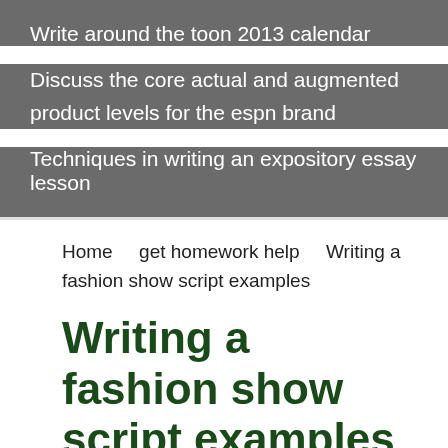Write around the toon 2013 calendar
Discuss the core actual and augmented product levels for the espn brand
Techniques in writing an expository essay lesson
Home    get homework help    Writing a fashion show script examples
Writing a fashion show script examples
Writing materials Piandao had a complete set of writing implements at his castle. Writing in the Avatar World is achieved through several means. This is primarily